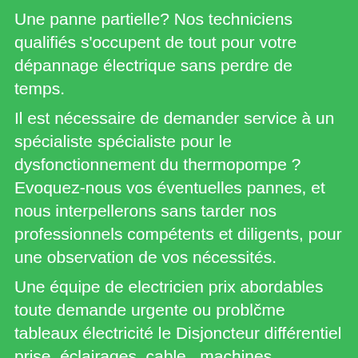Une panne partielle? Nos techniciens qualifiés s'occupent de tout pour votre dépannage électrique sans perdre de temps.
Il est nécessaire de demander service à un spécialiste spécialiste pour le dysfonctionnement du thermopompe ? Evoquez-nous vos éventuelles pannes, et nous interpellerons sans tarder nos professionnels compétents et diligents, pour une observation de vos nécessités.
Une équipe de electricien prix abordables toute demande urgente ou problčme tableaux électricité le Disjoncteur différentiel prise, éclairages, cable , machines tournantes : moteurs, alternateurs, appareils, électricité marque des fabricants Schneider, merlin gerin, Schrack, Wago
Besoin des services d'une entreprise d'électricité dans votre secteur? Nous sommes installés depuis plusieurs années. La société d'électricité de qualité